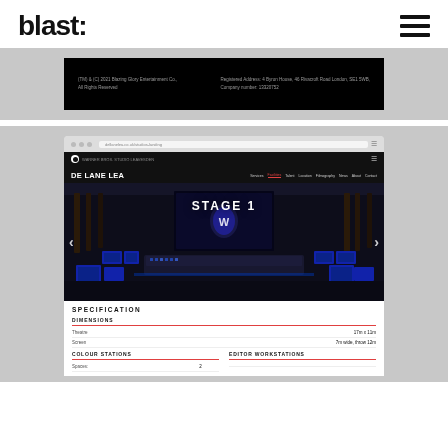blast:
[Figure (screenshot): Screenshot of a dark website footer on black background with small text: '(TM) & (C) 2021 Blazing Glory Entertainment Co., All Rights Reserved' on left and 'Registered Address: 4 Byron House, 46 Rivacroft Road London, SE1 5WB, Company number: 13320752' on right]
[Figure (screenshot): Screenshot of De Lane Lea recording studio website showing 'Stage 1' page. Features a browser window with dark navigation bar showing 'DE LANE LEA' logo and nav links: Services, Facilities (active/red), Talent, Location, Filmography, News, About, Contact. Main image shows a recording studio interior with mixing console, screens, and a large projection screen with Warner Bros shield logo. Below is a specifications section showing DIMENSIONS with Theatre: 17m x 11m, Screen: 7m wide, throw 12m, and COLOUR STATIONS / EDITOR WORKSTATIONS headings with Spaces: 2]